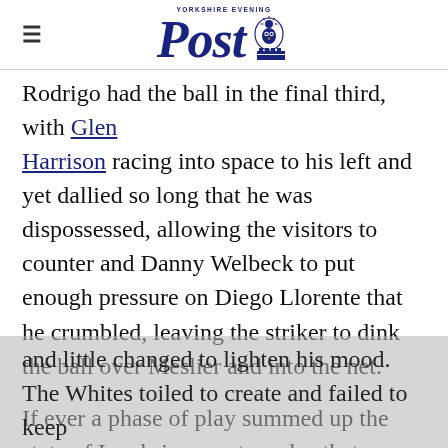Yorkshire Evening Post
Rodrigo had the ball in the final third, with Glen Harrison racing into space to his left and yet dallied so long that he was dispossessed, allowing the visitors to counter and Danny Welbeck to put enough pressure on Diego Llorente that he crumbled, leaving the striker to dink the ball over Meslier and into the net.
If ever a phase of play summed up the state of Leeds in recent weeks, that was it. Phillips hurled a water bottle into the turf in frustration and little changed to lighten his mood. The Whites toiled to create and failed to keep